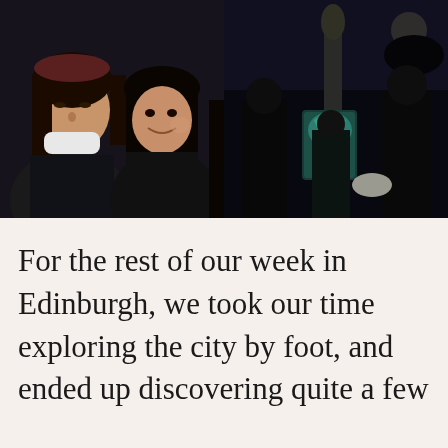[Figure (photo): Two side-by-side photos. Left: two Asian women taking a selfie at night, one with a white face mask pulled down under her chin, both wearing dark jackets. Right: a dark outdoor night scene with people gathered around an illuminated green statue/monument.]
For the rest of our week in Edinburgh, we took our time exploring the city by foot, and ended up discovering quite a few